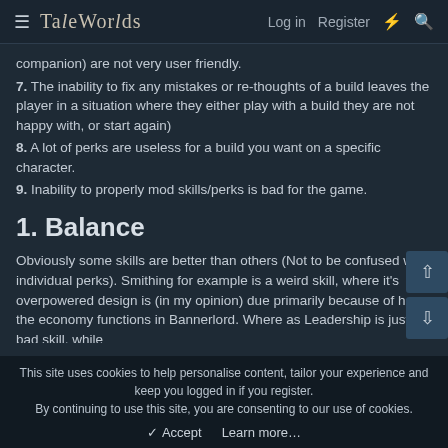≡ TaleWorlds  Log in  Register  ⚡  🔍
companion) are not very user friendly.
7. The inability to fix any mistakes or re-thoughts of a build leaves the player in a situation where they either play with a build they are not happy with, or start again)
8. A lot of perks are useless for a build you want on a specific character.
9. Inability to properly mod skills/perks is bad for the game.
1. Balance
Obviously some skills are better than others (Not to be confused with individual perks). Smithing for example is a weird skill, where it's overpowered design is (in my opinion) due primarily because of how the economy functions in Bannerlord. Where as Leadership is just a bad skill, while
This site uses cookies to help personalise content, tailor your experience and keep you logged in if you register. By continuing to use this site, you are consenting to our use of cookies. ✓ Accept  Learn more…